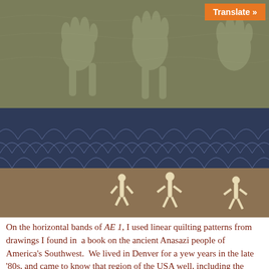[Figure (photo): A photograph of a quilt with three horizontal sections: top section has an olive/sage green fabric with faint hand-print or figure designs, a middle dark navy blue band with circular arc quilting patterns (fish scale or clamshell design), and a lower brownish-tan section with cream-colored stick-figure petroglyphs. An orange 'Translate »' button overlays the top-right corner.]
On the horizontal bands of AE 1, I used linear quilting patterns from drawings I found in  a book on the ancient Anasazi people of  America's Southwest.  We lived in Denver for a yew years in the late '80s, and came to know that region of the USA well, including the wonderful petroglyphic sites, ancient village ruins